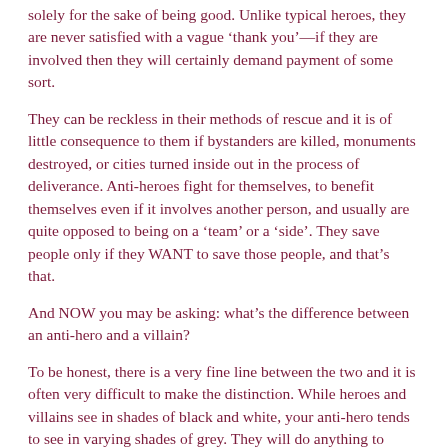solely for the sake of being good. Unlike typical heroes, they are never satisfied with a vague ‘thank you’—if they are involved then they will certainly demand payment of some sort.
They can be reckless in their methods of rescue and it is of little consequence to them if bystanders are killed, monuments destroyed, or cities turned inside out in the process of deliverance. Anti-heroes fight for themselves, to benefit themselves even if it involves another person, and usually are quite opposed to being on a ‘team’ or a ‘side’. They save people only if they WANT to save those people, and that’s that.
And NOW you may be asking: what’s the difference between an anti-hero and a villain?
To be honest, there is a very fine line between the two and it is often very difficult to make the distinction. While heroes and villains see in shades of black and white, your anti-hero tends to see in varying shades of grey. They will do anything to convince you their bad motives are right, and their good deeds wrong. Lines that are very clear to the hero and the villain are quite blurred with your anti-hero.
Just to be perfectly clear: there is a difference between the anti-hero and the villain, and in the hero and villain and anti-hero.